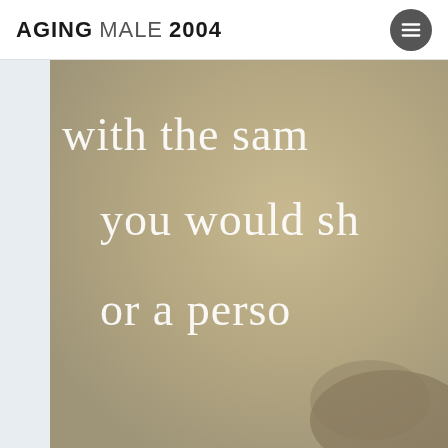AGING MALE 2004
[Figure (photo): A cropped/zoomed photograph of a motivational or inspirational quote printed in white serif text on a warm beige/tan background. The visible text reads: 'with the sam', 'you would sh', 'or a perso' — indicating the full quote is partially cut off at the right edge. The lower portion shows a blurred image (possibly a person). The photo is partially obscured on the left by a light blue-grey vertical strip.]